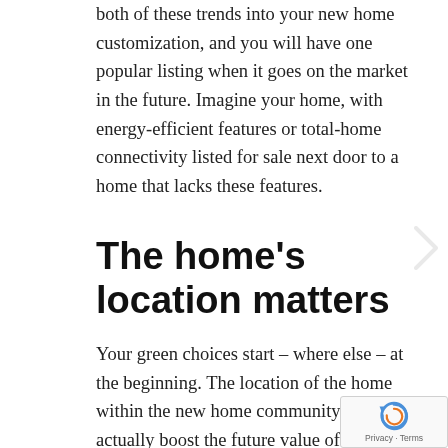both of these trends into your new home customization, and you will have one popular listing when it goes on the market in the future. Imagine your home, with energy-efficient features or total-home connectivity listed for sale next door to a home that lacks these features.
The home’s location matters
Your green choices start – where else – at the beginning. The location of the home within the new home community can actually boost the future value of the home. You’ll want to cho… a lot that will allow your home to be oriente… so that it takes full advantage of the sun.